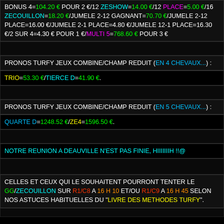BONUS 4=104.20 € POUR 2 €/12 ZESHOW=14.00 €/12 PLACE=5.00 €/16 ZECOUILLON=18.20 €/JUMELE 2-12 GAGNANT=70.70 €/JUMELE 2-12 PLACE=16.00 €/JUMELE 2-1 PLACE=4.80 €/JUMELE 12-1 PLACE=16.30 €/2 SUR 4=4.30 € POUR 1 €/MULTI 5=768.60 € POUR 3 €
PRONOS TURFY JEUX COMBINE/CHAMP REDUIT (EN 4 CHEVAUX...) :
TRIO=53.30 €/TIERCE D=41.90 €.
PRONOS TURFY JEUX COMBINE/CHAMP REDUIT (EN 5 CHEVAUX...) :
QUARTE D=1248.52 €/ZE4=1596.50 €.
NOTRE REUNION A DEAUVILLE N'EST PAS FINIE, HIIIIIIIH !!@
CELLES ET CEUX QUI LE SOUHAITENT POURRONT TENTER LE GG/ZECOUILLON SUR R1/C8 A 16 H 10 ET/OU R1/C9 A 16 H 45 SELON NOS ASTUCES HABITUELLES DU "LIVRE DES METHODES TURFY".